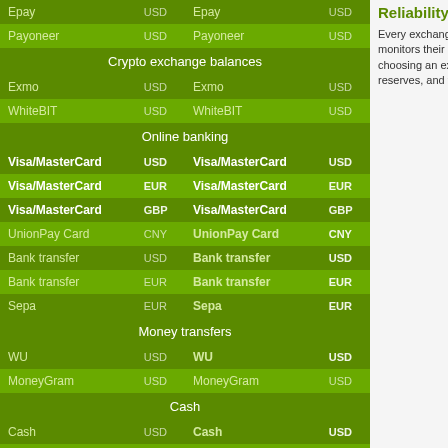| From | Currency | To | Currency |
| --- | --- | --- | --- |
| Epay | USD | Epay | USD |
| Payoneer | USD | Payoneer | USD |
| Crypto exchange balances |  |  |  |
| Exmo | USD | Exmo | USD |
| WhiteBIT | USD | WhiteBIT | USD |
| Online banking |  |  |  |
| Visa/MasterCard | USD | Visa/MasterCard | USD |
| Visa/MasterCard | EUR | Visa/MasterCard | EUR |
| Visa/MasterCard | GBP | Visa/MasterCard | GBP |
| UnionPay Card | CNY | UnionPay Card | CNY |
| Bank transfer | USD | Bank transfer | USD |
| Bank transfer | EUR | Bank transfer | EUR |
| Sepa | EUR | Sepa | EUR |
| Money transfers |  |  |  |
| WU | USD | WU | USD |
| MoneyGram | USD | MoneyGram | USD |
| Cash |  |  |  |
| Cash | USD | Cash | USD |
| Cash | EUR | Cash | EUR |
Reliability of exchangers
Every exchanger present in the monitor monitors their due performance. Before choosing an exchanger, make sure of its reserves, and the current rate of exchange.